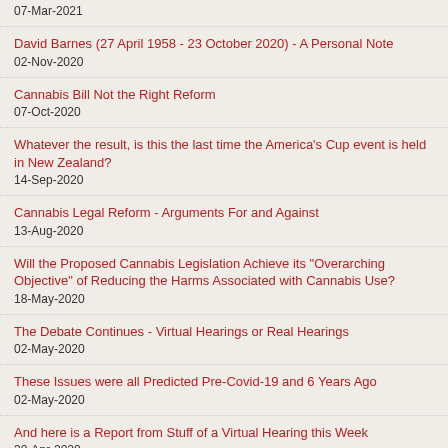07-Mar-2021
David Barnes (27 April 1958 - 23 October 2020) - A Personal Note
02-Nov-2020
Cannabis Bill Not the Right Reform
07-Oct-2020
Whatever the result, is this the last time the America's Cup event is held in New Zealand?
14-Sep-2020
Cannabis Legal Reform - Arguments For and Against
13-Aug-2020
Will the Proposed Cannabis Legislation Achieve its "Overarching Objective" of Reducing the Harms Associated with Cannabis Use?
18-May-2020
The Debate Continues - Virtual Hearings or Real Hearings
02-May-2020
These Issues were all Predicted Pre-Covid-19 and 6 Years Ago
02-May-2020
And here is a Report from Stuff of a Virtual Hearing this Week
30-Apr-2020